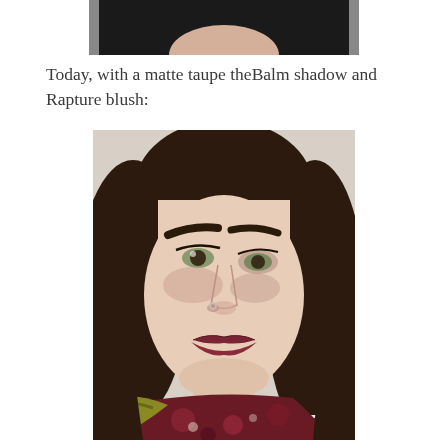[Figure (photo): Partial photo of a person cropped at the top of the page, showing chest and chin area with dark clothing.]
Today, with a matte taupe theBalm shadow and Rapture blush:
[Figure (photo): Close-up selfie of a young woman with dark brown hair, green eyes, bold eyebrows, dark red/burgundy lipstick, a nose ring, and a patterned scarf with floral and striped fabric.]